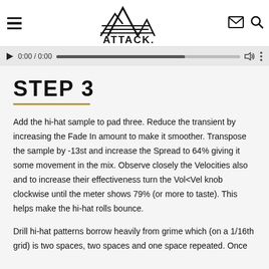ATTACK. [navigation header with hamburger menu, logo, mail icon, search icon]
[Figure (screenshot): Audio player bar showing play button, time 0:00 / 0:00, progress bar, volume and options icons]
STEP 3
Add the hi-hat sample to pad three. Reduce the transient by increasing the Fade In amount to make it smoother. Transpose the sample by -13st and increase the Spread to 64% giving it some movement in the mix. Observe closely the Velocities also and to increase their effectiveness turn the Vol<Vel knob clockwise until the meter shows 79% (or more to taste). This helps make the hi-hat rolls bounce.
Drill hi-hat patterns borrow heavily from grime which (on a 1/16th grid) is two spaces, two spaces and one space repeated. Once